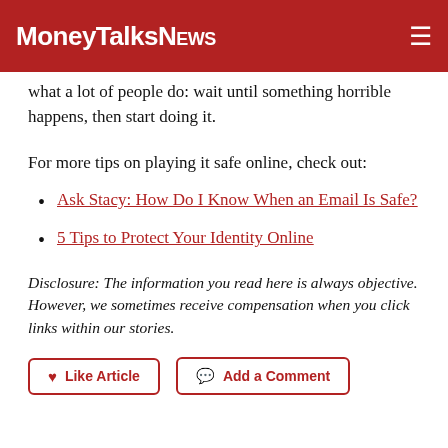MoneyTalksNews
what a lot of people do: wait until something horrible happens, then start doing it.
For more tips on playing it safe online, check out:
Ask Stacy: How Do I Know When an Email Is Safe?
5 Tips to Protect Your Identity Online
Disclosure: The information you read here is always objective. However, we sometimes receive compensation when you click links within our stories.